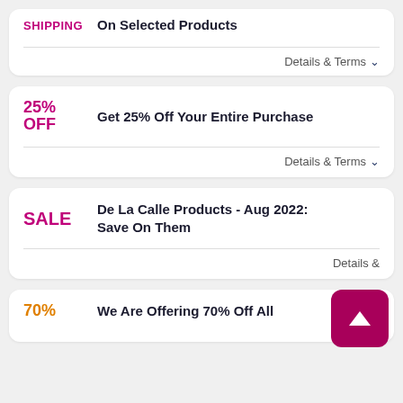SHIPPING — On Selected Products — Details & Terms
25% OFF — Get 25% Off Your Entire Purchase — Details & Terms
SALE — De La Calle Products - Aug 2022: Save On Them — Details &
70% — We Are Offering 70% Off All